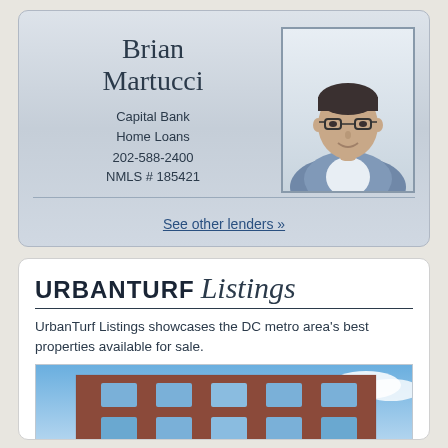Brian Martucci
Capital Bank Home Loans
202-588-2400
NMLS # 185421
[Figure (photo): Professional headshot of Brian Martucci, a man in a blue blazer with glasses, smiling]
See other lenders »
[Figure (logo): UrbanTurf Listings logo — UrbanTurf in bold uppercase sans-serif, Listings in italic script]
UrbanTurf Listings showcases the DC metro area's best properties available for sale.
[Figure (photo): Photo of a brick building with large windows against a blue sky with clouds]